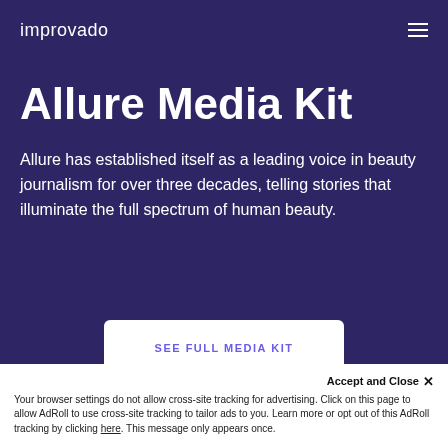improvado
Allure Media Kit
Allure has established itself as a leading voice in beauty journalism for over three decades, telling stories that illuminate the full spectrum of human beauty.
SEE FULL MEDIA KIT
Accept and Close ✕
Your browser settings do not allow cross-site tracking for advertising. Click on this page to allow AdRoll to use cross-site tracking to tailor ads to you. Learn more or opt out of this AdRoll tracking by clicking here. This message only appears once.